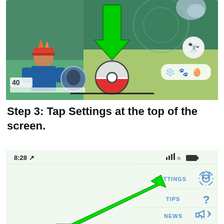[Figure (screenshot): Pokémon GO game screenshot showing the main map screen with player avatar at level 40, a Pokeball in the center, and a green arrow pointing down to the Pokeball. Right side shows binoculars icon and item icons. A horizontal black line is visible at the bottom of the screen.]
Step 3: Tap Settings at the top of the screen.
[Figure (screenshot): Pokémon GO app screenshot showing status bar with time 8:28 and signal/wifi/battery icons, and a menu on the right side showing SETTINGS (with gear icon), TIPS (with question mark), and NEWS (with megaphone icon). A large green arrow points diagonally up-right toward the SETTINGS option.]